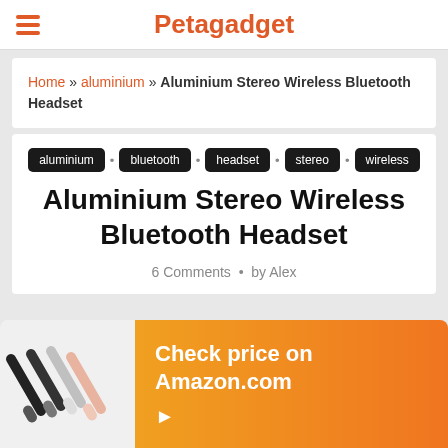Petagadget
Home » aluminium » Aluminium Stereo Wireless Bluetooth Headset
aluminium · bluetooth · headset · stereo · wireless
Aluminium Stereo Wireless Bluetooth Headset
6 Comments • by Alex
[Figure (photo): Aluminium Stereo Wireless Bluetooth Headset product image with orange Amazon banner saying 'Check price on Amazon.com']